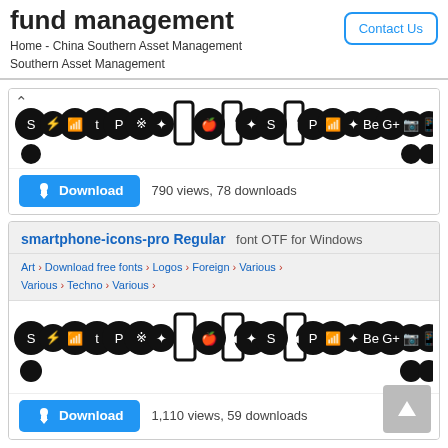fund management
Home - China Southern Asset Management Southern Asset Management
[Figure (screenshot): Contact Us button (outlined blue button)]
[Figure (illustration): Row of social media and smartphone icon symbols in circular black badges (first font card preview)]
[Figure (screenshot): Download button (blue) with cloud/arrow icon]
790 views, 78 downloads
smartphone-icons-pro Regular  font OTF for Windows
Art > Download free fonts > Logos > Foreign > Various > Various > Techno > Various >
[Figure (illustration): Row of social media and smartphone icon symbols in circular black badges (second font card preview)]
[Figure (screenshot): Download button (blue) with cloud/arrow icon]
1,110 views, 59 downloads
[Figure (screenshot): Scroll to top button (grey arrow up)]